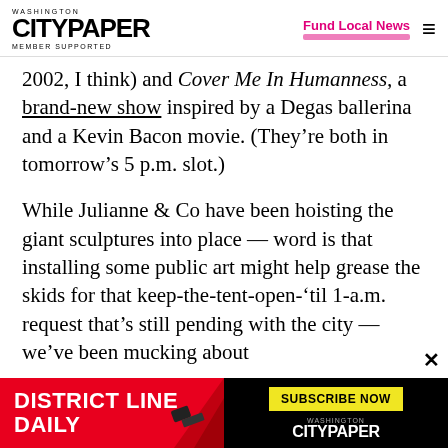Washington City Paper — Member Supported | Fund Local News
2002, I think) and Cover Me In Humanness, a brand-new show inspired by a Degas ballerina and a Kevin Bacon movie. (They're both in tomorrow's 5 p.m. slot.)
While Julianne & Co have been hoisting the giant sculptures into place — word is that installing some public art might help grease the skids for that keep-the-tent-open-'til 1-a.m. request that's still pending with the city — we've been mucking about
[Figure (infographic): District Line Daily advertisement banner with Subscribe Now button and City Paper logo]